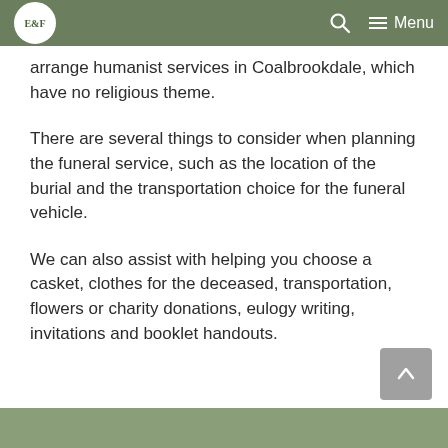E&F [logo] | [search icon] | Menu
arrange humanist services in Coalbrookdale, which have no religious theme.
There are several things to consider when planning the funeral service, such as the location of the burial and the transportation choice for the funeral vehicle.
We can also assist with helping you choose a casket, clothes for the deceased, transportation, flowers or charity donations, eulogy writing, invitations and booklet handouts.